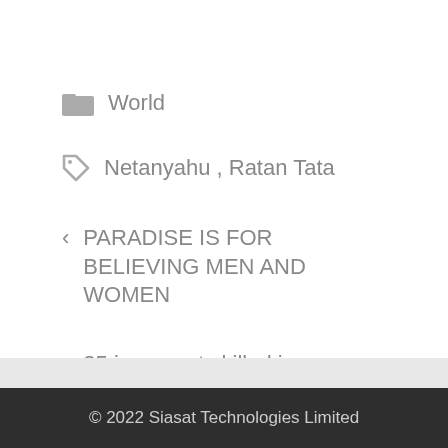World
Netanyahu , Ratan Tata
< PARADISE IS FOR BELIEVING MEN AND WOMEN
> 35 insurgents killed in Kandahar airstrike: MoD
© 2022 Siasat Technologies Limited